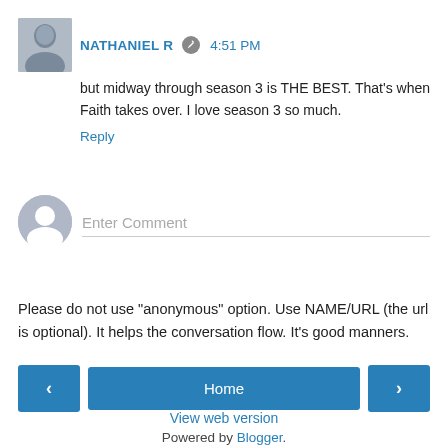NATHANIEL R  4:51 PM
but midway through season 3 is THE BEST. That's when Faith takes over. I love season 3 so much.
Reply
[Figure (other): Enter Comment input field with grey anonymous avatar]
Please do not use "anonymous" option. Use NAME/URL (the url is optional). It helps the conversation flow. It's good manners.
[Figure (infographic): Navigation buttons: left arrow, Home, right arrow]
View web version
Powered by Blogger.